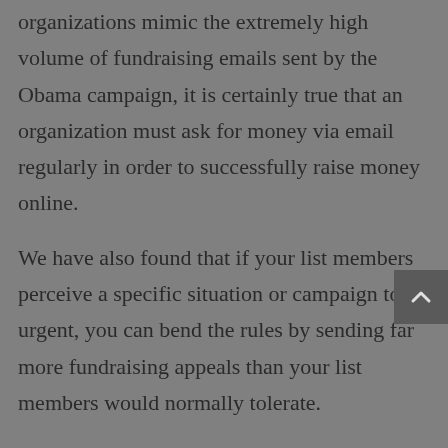organizations mimic the extremely high volume of fundraising emails sent by the Obama campaign, it is certainly true that an organization must ask for money via email regularly in order to successfully raise money online.
We have also found that if your list members perceive a specific situation or campaign to be urgent, you can bend the rules by sending far more fundraising appeals than your list members would normally tolerate.
For example, in the 60 days leading up to Election Day, the Obama campaign sent over 80 email messages to my email inbox. On